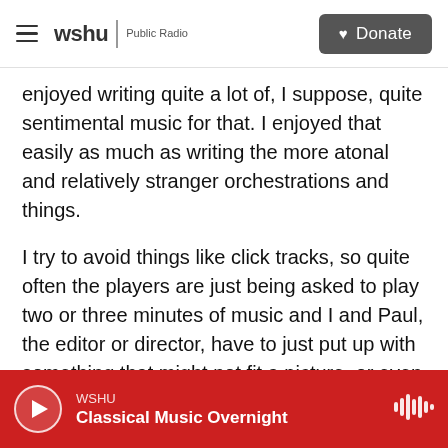wshu | Public Radio  [Donate]
enjoyed writing quite a lot of, I suppose, quite sentimental music for that. I enjoyed that easily as much as writing the more atonal and relatively stranger orchestrations and things.
I try to avoid things like click tracks, so quite often the players are just being asked to play two or three minutes of music and I and Paul, the editor or director, have to just put up with something that might not fit a picture, or even move the picture around so it fits the music. But this is partly from just trying to avoid computers as being the arbiter in how music is played and how tempos are
WSHU  Classical Music Overnight